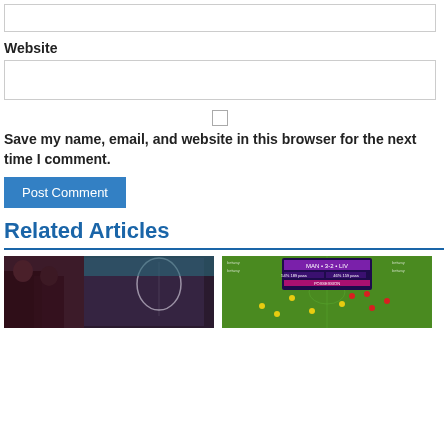[Figure (screenshot): Text input box (empty), top of form]
Website
[Figure (screenshot): Website text input box (empty)]
[Figure (screenshot): Checkbox (unchecked)]
Save my name, email, and website in this browser for the next time I comment.
[Figure (screenshot): Post Comment button (blue)]
Related Articles
[Figure (photo): Left article image: two people in a dimly lit room with a wall mural of a woman's face]
[Figure (screenshot): Right article image: football/soccer match broadcast screenshot with scoreboard overlay on green pitch]